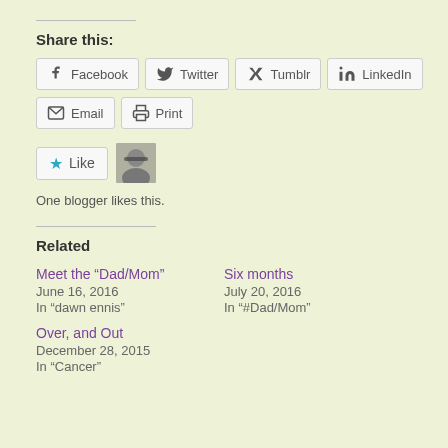Share this:
Facebook
Twitter
Tumblr
LinkedIn
Email
Print
[Figure (other): Like button with star icon and a blogger avatar thumbnail]
One blogger likes this.
Related
Meet the “Dad/Mom”
June 16, 2016
In “dawn ennis”
Six months
July 20, 2016
In “#Dad/Mom”
Over, and Out
December 28, 2015
In “Cancer”